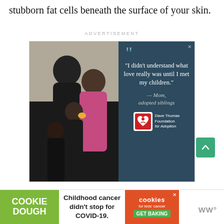stubborn fat cells beneath the surface of your skin.
ADVERTISEMENT
[Figure (photo): Advertisement for Dave Thomas Foundation for Adoption featuring a family photo (dad, mom, and two children smiling) beside a quote: "I didn't understand what love really was until I met my children." — Mom, adopted siblings. Includes Dave Thomas Foundation for Adoption logo.]
[Figure (other): Cookie Dough / Cookies for Kids Cancer advertisement: Childhood cancer didn't stop for COVID-19. GET BAKING.]